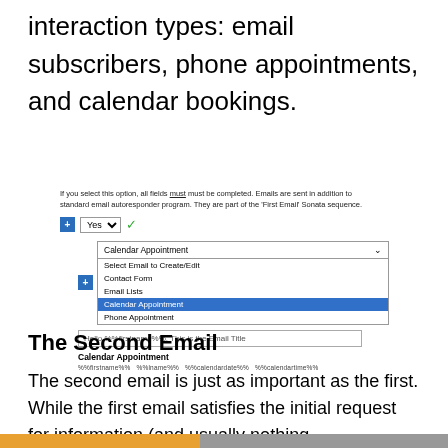interaction types: email subscribers, phone appointments, and calendar bookings.
[Figure (screenshot): A UI screenshot showing email options. An info text reads: 'If you select this option, all fields must must be completed. Emails are sent in addition to standard email autoresponder program. They are part of the First Email Sonata sequence.' Below that is a Yes dropdown with a green checkmark. Then a plus icon with a Calendar Appointment dropdown showing options: Select Email to Create/Edit, Contact Form, Email Lists, Calendar Appointment (highlighted in blue), Phone Appointment. Below is a text input showing 'Hello %%firstname%%, This is the Email Title'. Then 'Calendar Appointment' label and token row: %%firstname%% %%lname%% %%calendardate%% %%calendartime%%]
The Second Email
The second email is just as important as the first. While the first email satisfies the initial request for information (and usually nothing